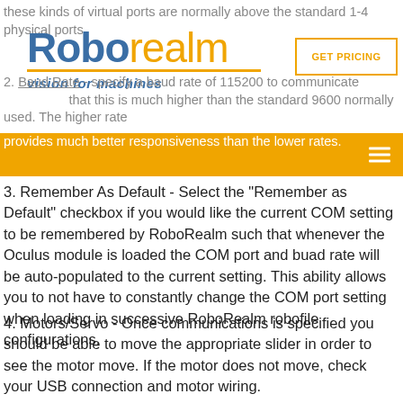these kinds of virtual ports are normally above the standard 1-4 physical ports.
[Figure (logo): RoboRealm logo with blue 'Robo' and orange 'realm' text, orange underline, and tagline 'vision for machines']
GET PRICING
2. Baud Rate - specify a baud rate of 115200 to communicate ... that this is much higher than the standard 9600 normally used. The higher rate provides much better responsiveness than the lower rates.
3. Remember As Default - Select the "Remember as Default" checkbox if you would like the current COM setting to be remembered by RoboRealm such that whenever the Oculus module is loaded the COM port and buad rate will be auto-populated to the current setting. This ability allows you to not have to constantly change the COM port setting when loading in successive RoboRealm robofile configurations.
4. Motors/Servo - Once communications is specified you should be able to move the appropriate slider in order to see the motor move. If the motor does not move, check your USB connection and motor wiring.